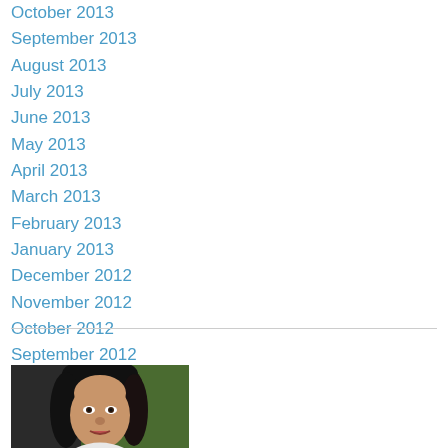October 2013
September 2013
August 2013
July 2013
June 2013
May 2013
April 2013
March 2013
February 2013
January 2013
December 2012
November 2012
October 2012
September 2012
[Figure (photo): Portrait photo of a dark-haired woman smiling, with green blurred background]